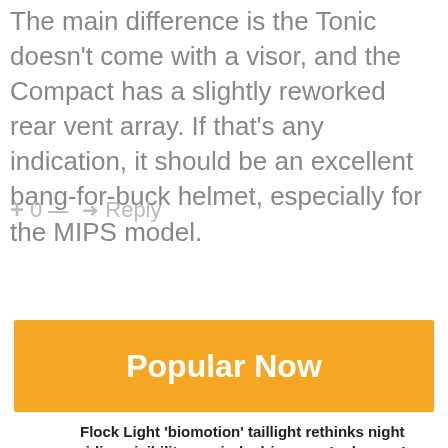The main difference is the Tonic doesn't come with a visor, and the Compact has a slightly reworked rear vent array. If that's any indication, it should be an excellent bang-for-buck helmet, especially for the MIPS model.
+ 0 — ➜ Reply
Popular Now
Flock Light 'biomotion' taillight rethinks night riding visibility, reminds drivers we're human!